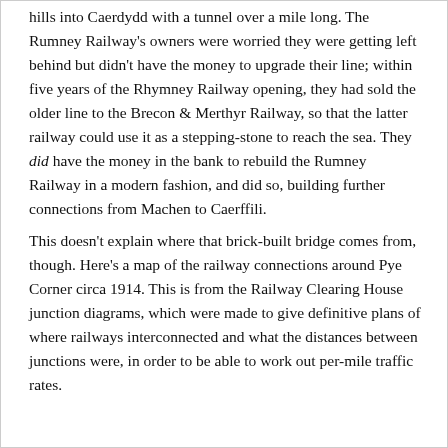hills into Caerdydd with a tunnel over a mile long. The Rumney Railway's owners were worried they were getting left behind but didn't have the money to upgrade their line; within five years of the Rhymney Railway opening, they had sold the older line to the Brecon & Merthyr Railway, so that the latter railway could use it as a stepping-stone to reach the sea. They did have the money in the bank to rebuild the Rumney Railway in a modern fashion, and did so, building further connections from Machen to Caerffili.
This doesn't explain where that brick-built bridge comes from, though. Here's a map of the railway connections around Pye Corner circa 1914. This is from the Railway Clearing House junction diagrams, which were made to give definitive plans of where railways interconnected and what the distances between junctions were, in order to be able to work out per-mile traffic rates.